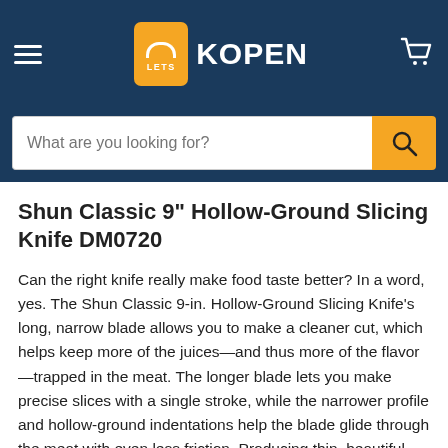LETS KOPEN
Shun Classic 9" Hollow-Ground Slicing Knife DM0720
Can the right knife really make food taste better? In a word, yes. The Shun Classic 9-in. Hollow-Ground Slicing Knife’s long, narrow blade allows you to make a cleaner cut, which helps keep more of the juices—and thus more of the flavor—trapped in the meat. The longer blade lets you make precise slices with a single stroke, while the narrower profile and hollow-ground indentations help the blade glide through the meat with even less friction. Producing thin, beautiful, even slices of meat isn’t hard... when your have the right knife. The Shun Classic Hollow